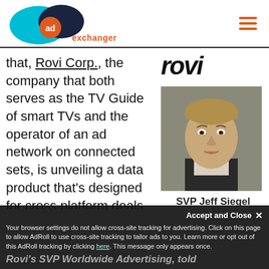[Figure (logo): AdExchanger logo — overlapping cyan and dark navy ellipses with orange circle containing 'ad' text and 'exchanger' below]
[Figure (other): Hamburger menu icon — three horizontal orange lines]
that, Rovi Corp., the company that both serves as the TV Guide of smart TVs and the operator of an ad network on connected sets, is unveiling a data product that's designed for cross platform deals, starting from the set-top box and continuing to the web,
[Figure (logo): Rovi logo in large bold italic black text]
[Figure (photo): Headshot photo of SVP Jeff Siegel — man in dark suit jacket with light shirt, light brown hair, smiling slightly, against neutral background]
SVP Jeff Siegel
Accept and Close ✕
Your browser settings do not allow cross-site tracking for advertising. Click on this page to allow AdRoll to use cross-site tracking to tailor ads to you. Learn more or opt out of this AdRoll tracking by clicking here. This message only appears once.
Rovi's SVP Worldwide Advertising, told